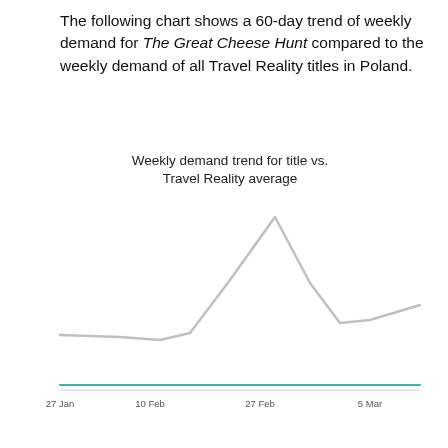The following chart shows a 60-day trend of weekly demand for The Great Cheese Hunt compared to the weekly demand of all Travel Reality titles in Poland.
[Figure (line-chart): A line chart showing a 60-day weekly demand trend for The Great Cheese Hunt (light gray line, higher amplitude) versus the Travel Reality average (teal/cyan line, nearly flat at the bottom). The gray line starts moderate, dips slightly, rises sharply to a peak around mid-chart, drops, then rises again toward the right. The teal line stays near the bottom throughout. X-axis shows dates (e.g. 27-Jan, 10-Feb, 27-Feb, 5-Mar). No y-axis labels visible.]